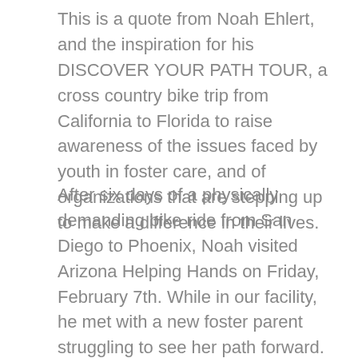This is a quote from Noah Ehlert, and the inspiration for his DISCOVER YOUR PATH TOUR, a cross country bike trip from California to Florida to raise awareness of the issues faced by youth in foster care, and of organizations that are stepping up to make a difference in their lives.
After six days of a physically demanding bike ride from San Diego to Phoenix, Noah visited Arizona Helping Hands on Friday, February 7th. While in our facility, he met with a new foster parent struggling to see her path forward.  She heard from Noah a message of hope. He told her that he made it through challenging times as a youth, and was given a chance by caring adults. He told Larissa that what she is doing is vitally important, and that while she may never learn the end result of her service to children in need,